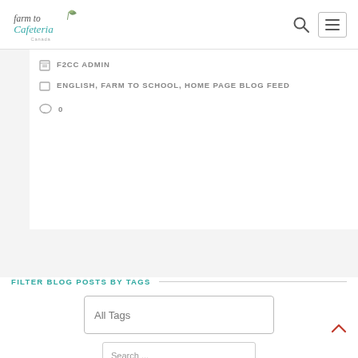Farm to Cafeteria Canada
F2CC ADMIN
ENGLISH, FARM TO SCHOOL, HOME PAGE BLOG FEED
0
FILTER BLOG POSTS BY TAGS
All Tags
Search ...